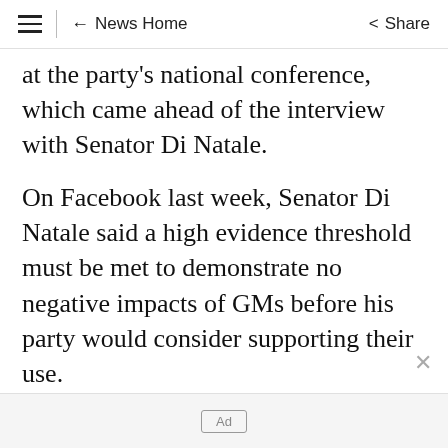≡ | ← News Home  Share
at the party's national conference, which came ahead of the interview with Senator Di Natale.
On Facebook last week, Senator Di Natale said a high evidence threshold must be met to demonstrate no negative impacts of GMs before his party would consider supporting their use.
But Mr Cossey said instead of being attacked, the Greens' leader should be commended for showing genuine thought leadership on
Ad